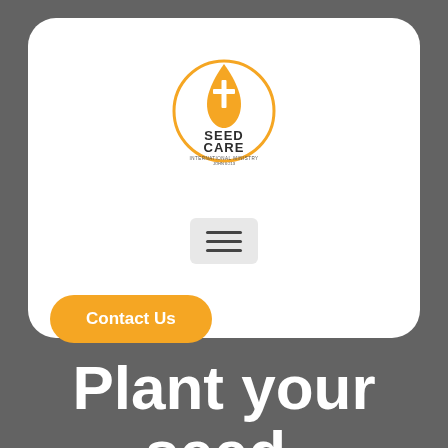[Figure (logo): Seed Care International Ministry logo: orange circle outline with a flame/droplet shape containing a cross at top, text SEED CARE in bold dark letters, smaller text INTERNATIONAL MINISTRY below, and JOHN 6:213 at bottom]
[Figure (other): Hamburger menu icon button with three horizontal dark bars on a light gray rounded rectangle background]
Contact Us
Plant your seed.
Provide